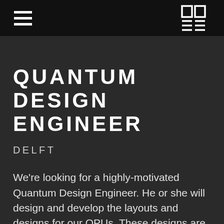QUANTUM DESIGN ENGINEER
DELFT
We're looking for a highly-motivated Quantum Design Engineer. He or she will design and develop the layouts and designs for our QPUs. These designs are a core technology of our company. Our proprietary technology allows us to scale